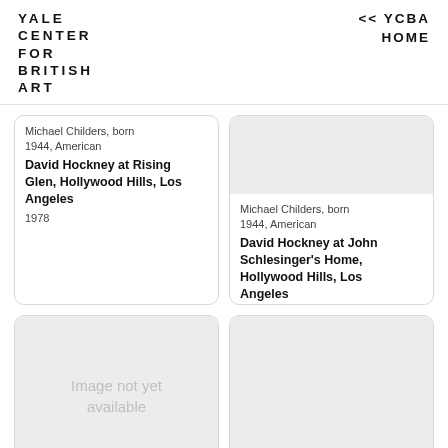YALE CENTER FOR BRITISH ART
<< YCBA HOME
Michael Childers, born 1944, American
David Hockney at Rising Glen, Hollywood Hills, Los Angeles
1978
[Figure (photo): Gray placeholder image block at top of card 2]
Michael Childers, born 1944, American
David Hockney at John Schlesinger's Home, Hollywood Hills, Los Angeles
1978
[Figure (photo): Image not yet available — large gray placeholder card 3]
[Figure (photo): Gray placeholder image block at top of card 4]